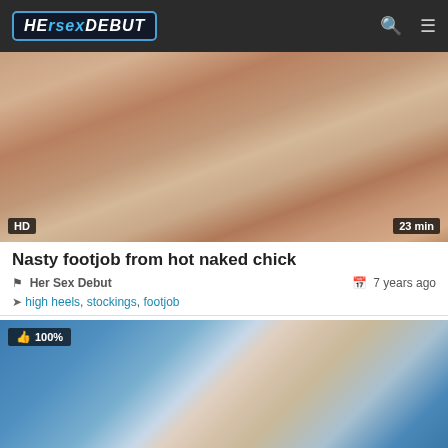HerSexDebut
[Figure (photo): Video thumbnail showing close-up adult content, skin tones, with HD badge and 23 min duration label]
Nasty footjob from hot naked chick
Her Sex Debut  |  7 years ago
high heels, stockings, footjob
[Figure (photo): Video thumbnail showing adult content with blue background, two people, with 100% rating badge]